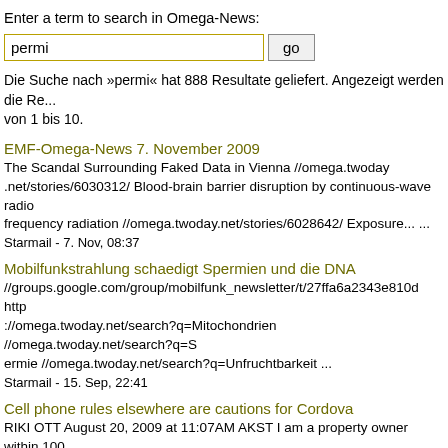Enter a term to search in Omega-News:
permi  go
Die Suche nach »permi« hat 888 Resultate geliefert. Angezeigt werden die Re... von 1 bis 10.
EMF-Omega-News 7. November 2009
The Scandal Surrounding Faked Data in Vienna //omega.twoday.net/stories/6030312/ Blood-brain barrier disruption by continuous-wave radio frequency radiation //omega.twoday.net/stories/6028642/ Exposure... ...
Starmail - 7. Nov, 08:37
Mobilfunkstrahlung schaedigt Spermien und die DNA
//groups.google.com/group/mobilfunk_newsletter/t/27ffa6a2343e810d http ://omega.twoday.net/search?q=Mitochondrien //omega.twoday.net/search?q=S ermie //omega.twoday.net/search?q=Unfruchtbarkeit ...
Starmail - 15. Sep, 22:41
Cell phone rules elsewhere are cautions for Cordova
RIKI OTT August 20, 2009 at 11:07AM AKST I am a property owner within 100 of CTC's proposed cell tower. I object to this conditional use permit on the gro solid scientific evidence of health... ...
Starmail - 20. Aug, 22:31
Hundreds to participate in power line case
Thursday August 6, 2009 Parties object to placement of 280-mile line across W Virginia by George Hohmann Daily Mail Business Editor CHARLESTON, W.Va...